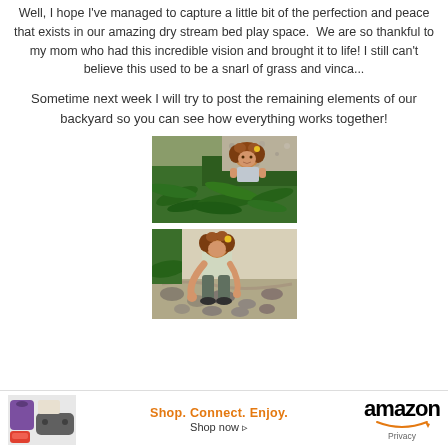Well, I hope I've managed to capture a little bit of the perfection and peace that exists in our amazing dry stream bed play space.  We are so thankful to my mom who had this incredible vision and brought it to life!  I still can't believe this used to be a snarl of grass and vinca...
Sometime next week I will try to post the remaining elements of our backyard so you can see how everything works together!
[Figure (photo): A young girl with curly hair and a flower hair clip crouching among lush green ferns and gravel in an outdoor garden/play space]
[Figure (photo): A young girl reaching down toward rocks and gravel in a dry stream bed play area outdoors]
[Figure (other): Amazon advertisement banner: product images (purple bag, shoes, game controller), tagline 'Shop. Connect. Enjoy.', 'Shop now' call to action, Amazon logo with smile, Privacy text]